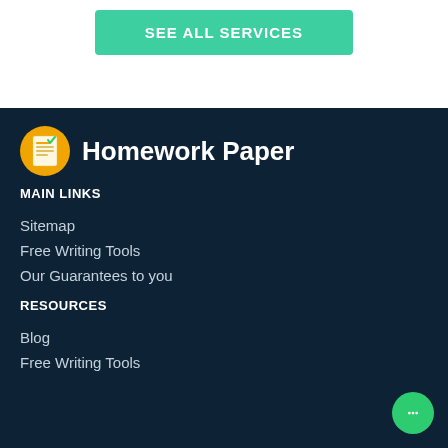[Figure (other): Green button labeled SEE ALL SERVICES]
[Figure (logo): Homework Paper logo with yellow icon and white text]
MAIN LINKS
Sitemap
Free Writing Tools
Our Guarantees to you
RESOURCES
Blog
Free Writing Tools